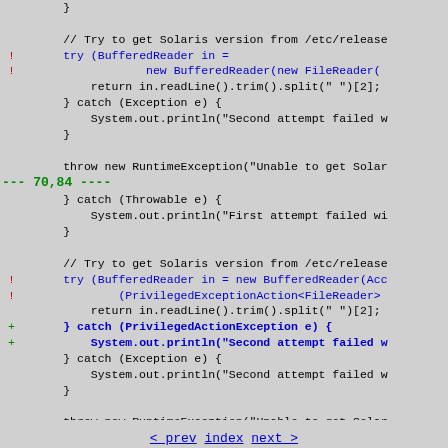Code diff showing Java source changes around try-catch blocks for getting Solaris version from /etc/release
< prev  index  next >